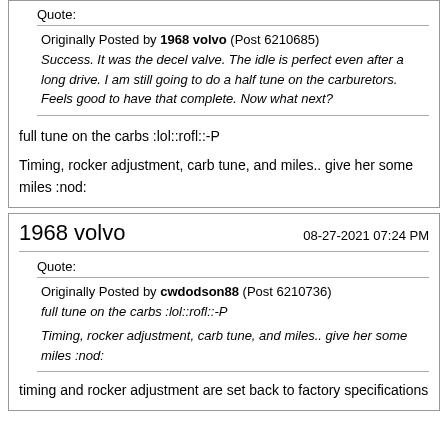Quote: Originally Posted by 1968 volvo (Post 6210685) Success. It was the decel valve. The idle is perfect even after a long drive. I am still going to do a half tune on the carburetors. Feels good to have that complete. Now what next?
full tune on the carbs :lol::rofl::-P

Timing, rocker adjustment, carb tune, and miles.. give her some miles :nod:
1968 volvo   08-27-2021 07:24 PM
Quote: Originally Posted by cwdodson88 (Post 6210736) full tune on the carbs :lol::rofl::-P Timing, rocker adjustment, carb tune, and miles.. give her some miles :nod:
timing and rocker adjustment are set back to factory specifications